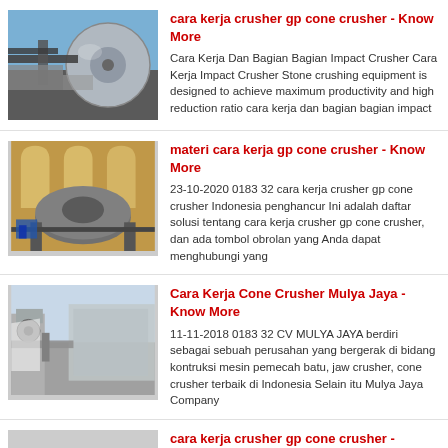[Figure (photo): Industrial crusher/cone crusher machinery photographed from below showing large circular disc against blue sky]
cara kerja crusher gp cone crusher - Know More
Cara Kerja Dan Bagian Bagian Impact Crusher Cara Kerja Impact Crusher Stone crushing equipment is designed to achieve maximum productivity and high reduction ratio cara kerja dan bagian bagian impact
[Figure (photo): Industrial mill or crusher inside a large factory/warehouse building with arched windows]
materi cara kerja gp cone crusher - Know More
23-10-2020 0183 32 cara kerja crusher gp cone crusher Indonesia penghancur Ini adalah daftar solusi tentang cara kerja crusher gp cone crusher, dan ada tombol obrolan yang Anda dapat menghubungi yang
[Figure (photo): Industrial machinery/crusher equipment in outdoor setting]
Cara Kerja Cone Crusher Mulya Jaya - Know More
11-11-2018 0183 32 CV MULYA JAYA berdiri sebagai sebuah perusahan yang bergerak di bidang kontruksi mesin pemecah batu, jaw crusher, cone crusher terbaik di Indonesia Selain itu Mulya Jaya Company
[Figure (photo): Partial view of industrial crusher machinery]
cara kerja crusher gp cone crusher -